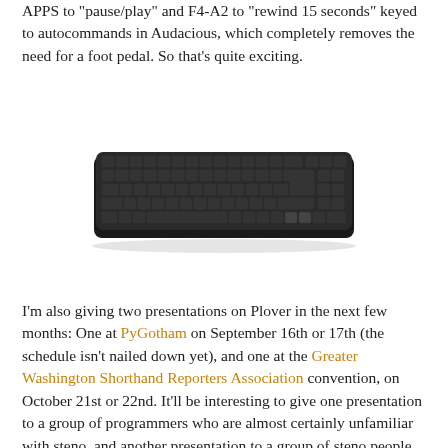APPS to "pause/play" and F4-A2 to "rewind 15 seconds" keyed to autocommands in Audacious, which completely removes the need for a foot pedal. So that's quite exciting.
[Figure (photo): A black mechanical keyboard photographed from a slight angle, showing all keys and the body of the keyboard against a white background.]
I'm also giving two presentations on Plover in the next few months: One at PyGotham on September 16th or 17th (the schedule isn't nailed down yet), and one at the Greater Washington Shorthand Reporters Association convention, on October 21st or 22nd. It'll be interesting to give one presentation to a group of programmers who are almost certainly unfamiliar with steno, and another presentation to a group of steno people who are almost